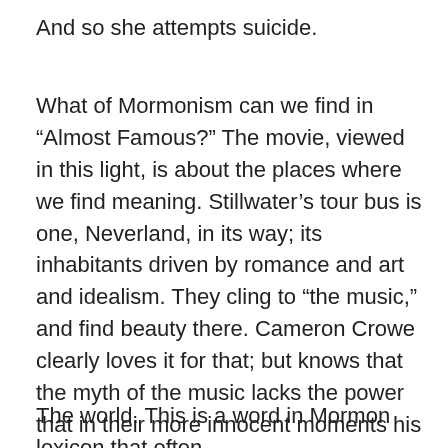And so she attempts suicide.
What of Mormonism can we find in “Almost Famous?” The movie, viewed in this light, is about the places where we find meaning. Stillwater’s tour bus is one, Neverland, in its way; its inhabitants driven by romance and art and idealism. They cling to “the music,” and find beauty there. Cameron Crowe clearly loves it for that; but knows that the myth of the music lacks the power that in their more innocent moments his characters ascribe to it. Despite what Jeff Bebe says, the music is not life; it can do nothing for Penny. Russell leaves her, the band moves on to a new city, and Penny is left behind, cast out of Neverland into the world.
The world. This is a word in Mormon lexicon that often